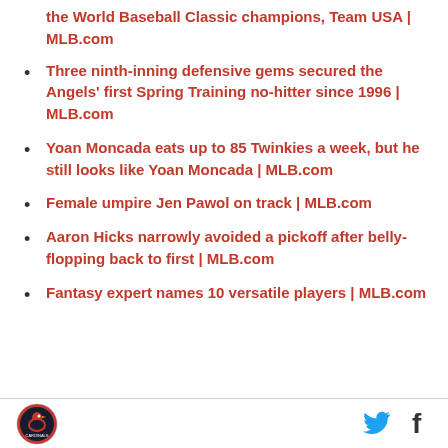the World Baseball Classic champions, Team USA | MLB.com
Three ninth-inning defensive gems secured the Angels' first Spring Training no-hitter since 1996 | MLB.com
Yoan Moncada eats up to 85 Twinkies a week, but he still looks like Yoan Moncada | MLB.com
Female umpire Jen Pawol on track | MLB.com
Aaron Hicks narrowly avoided a pickoff after belly-flopping back to first | MLB.com
Fantasy expert names 10 versatile players | MLB.com
Cardinals logo, Twitter icon, Facebook icon